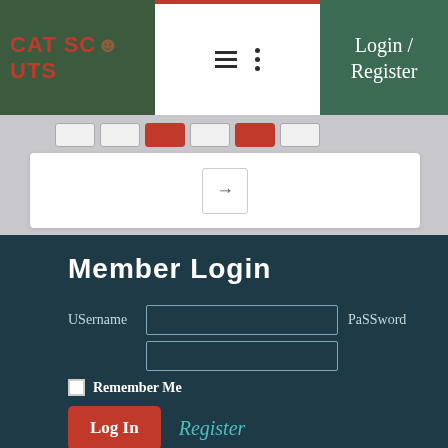[Figure (screenshot): Cat Scouts website header navigation bar with logo, hamburger menu, and Login/Register button]
Member Login
USername  PaSSword
Remember Me
Log In  Register